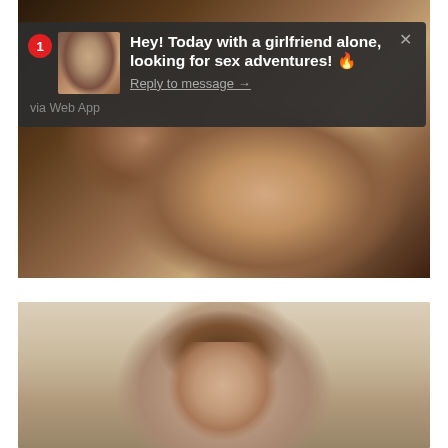[Figure (photo): Background photo showing person in dark lingerie, warm toned room]
Hey! Today with a girlfriend alone, looking for sex adventures! 🔥
Reply to message →
via Web App
[Figure (photo): Photo of young woman with brown hair looking at camera, teal earrings, light background]